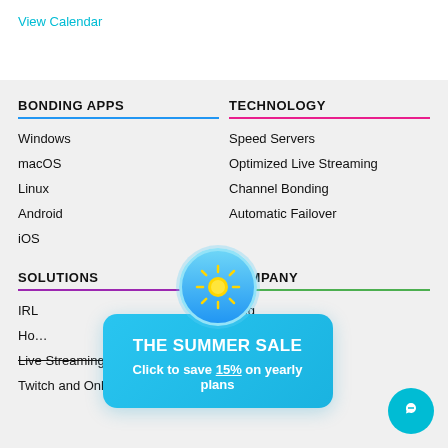View Calendar
BONDING APPS
Windows
macOS
Linux
Android
iOS
TECHNOLOGY
Speed Servers
Optimized Live Streaming
Channel Bonding
Automatic Failover
SOLUTIONS
COMPANY
IRL
Home
Live Streaming Events
Twitch and Online
Blog
Press Center
[Figure (infographic): Summer sale popup with sun icon. Text: THE SUMMER SALE / Click to save 15% on yearly plans]